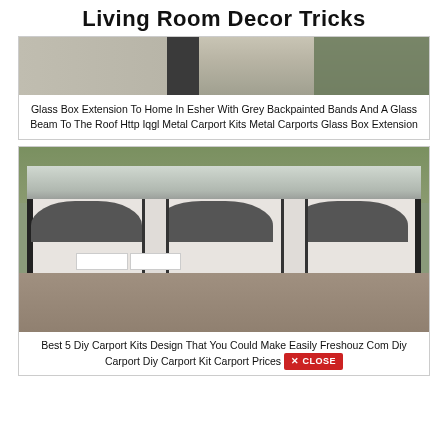Living Room Decor Tricks
[Figure (photo): Partial photo of a glass box extension to a home showing grey/tan wall panels and a dark structural column]
Glass Box Extension To Home In Esher With Grey Backpainted Bands And A Glass Beam To The Roof Http Iqgl Metal Carport Kits Metal Carports Glass Box Extension
[Figure (photo): Photo of a large open metal carport structure with three bays, metal roof, white panels, dark arched supports, and signs visible in the background on gravel ground]
Best 5 Diy Carport Kits Design That You Could Make Easily Freshouz Com Diy Carport Diy Carport Kit Carport Prices